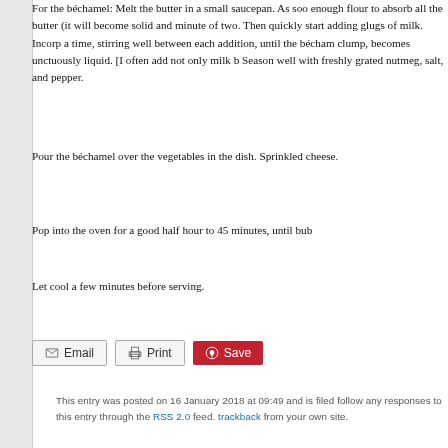For the béchamel: Melt the butter in a small saucepan. As soo enough flour to absorb all the butter (it will become solid and minute of two. Then quickly start adding glugs of milk. Incorp a time, stirring well between each addition, until the bécham clump, becomes unctuously liquid. [I often add not only milk b Season well with freshly grated nutmeg, salt, and pepper.
Pour the béchamel over the vegetables in the dish. Sprinkled cheese.
Pop into the oven for a good half hour to 45 minutes, until bub
Let cool a few minutes before serving.
[Figure (other): Action buttons: Email, Print, Save (Pinterest)]
This entry was posted on 16 January 2018 at 09:49 and is filed follow any responses to this entry through the RSS 2.0 feed. trackback from your own site.